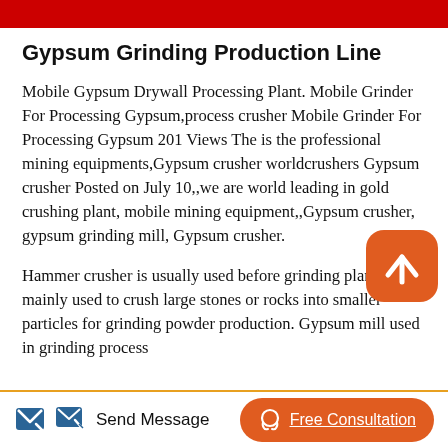Gypsum Grinding Production Line
Mobile Gypsum Drywall Processing Plant. Mobile Grinder For Processing Gypsum,process crusher Mobile Grinder For Processing Gypsum 201 Views The is the professional mining equipments,Gypsum crusher worldcrushers Gypsum crusher Posted on July 10,,we are world leading in gold crushing plant, mobile mining equipment,,Gypsum crusher, gypsum grinding mill, Gypsum crusher.
Hammer crusher is usually used before grinding plant. It is mainly used to crush large stones or rocks into smaller particles for grinding powder production. Gypsum mill used in grinding process
Send Message    Free Consultation